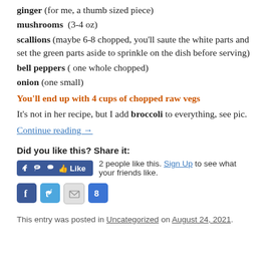ginger (for me, a thumb sized piece)
mushrooms  (3-4 oz)
scallions (maybe 6-8 chopped, you'll saute the white parts and set the green parts aside to sprinkle on the dish before serving)
bell peppers ( one whole chopped)
onion (one small)
You'll end up with 4 cups of chopped raw vegs
It's not in her recipe, but I add broccoli to everything, see pic.
Continue reading →
Did you like this? Share it:
[Figure (other): Facebook Like button widget showing 2 people like this with Sign Up link]
[Figure (other): Social share icons: Facebook, Twitter, Email, Google+]
This entry was posted in Uncategorized on August 24, 2021.